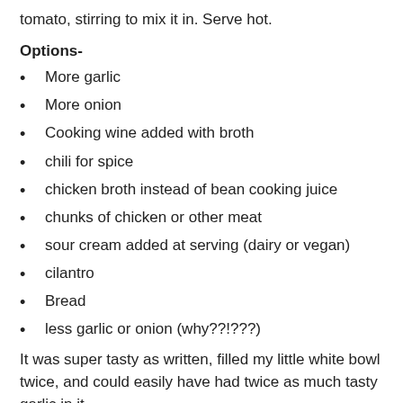tomato, stirring to mix it in. Serve hot.
Options-
More garlic
More onion
Cooking wine added with broth
chili for spice
chicken broth instead of bean cooking juice
chunks of chicken or other meat
sour cream added at serving (dairy or vegan)
cilantro
Bread
less garlic or onion (why??!???)
It was super tasty as written, filled my little white bowl twice, and could easily have had twice as much tasty garlic in it.